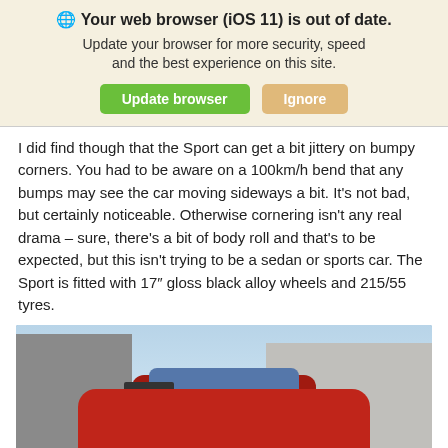[Figure (screenshot): Browser update banner: globe icon, bold text 'Your web browser (iOS 11) is out of date.', subtitle 'Update your browser for more security, speed and the best experience on this site.', green 'Update browser' button and tan 'Ignore' button, on a light yellow background.]
I did find though that the Sport can get a bit jittery on bumpy corners. You had to be aware on a 100km/h bend that any bumps may see the car moving sideways a bit. It’s not bad, but certainly noticeable. Otherwise cornering isn’t any real drama – sure, there’s a bit of body roll and that’s to be expected, but this isn’t trying to be a sedan or sports car. The Sport is fitted with 17” gloss black alloy wheels and 215/55 tyres.
[Figure (photo): Rear view of a red Suzuki hatchback/crossover (Sport model) with a spoiler, seen from behind-left angle, parked in front of grey industrial buildings under a blue sky. License plate partially visible: JTR711.]